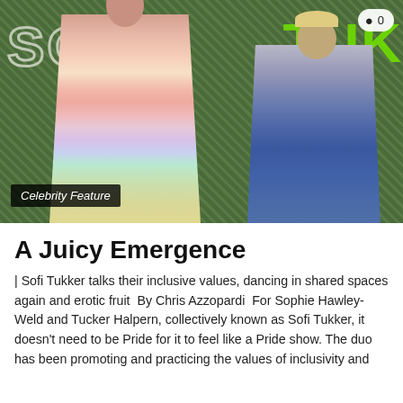[Figure (photo): Two people standing in front of a green textured background with 'SOFI TUKKER' text. A tall woman in a colorful flowing dress stands on the left, and a man in a blue shirt with a gold necklace sits on the right. A comment badge showing '0' appears in the top right corner.]
Celebrity Feature
A Juicy Emergence
| Sofi Tukker talks their inclusive values, dancing in shared spaces again and erotic fruit  By Chris Azzopardi  For Sophie Hawley-Weld and Tucker Halpern, collectively known as Sofi Tukker, it doesn't need to be Pride for it to feel like a Pride show. The duo has been promoting and practicing the values of inclusivity and